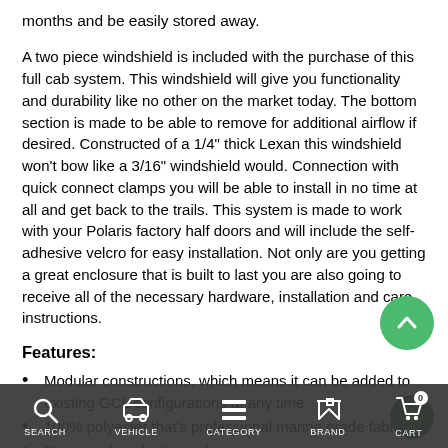months and be easily stored away.
A two piece windshield is included with the purchase of this full cab system. This windshield will give you functionality and durability like no other on the market today. The bottom section is made to be able to remove for additional airflow if desired. Constructed of a 1/4" thick Lexan this windshield won't bow like a 3/16" windshield would. Connection with quick connect clamps you will be able to install in no time at all and get back to the trails. This system is made to work with your Polaris factory half doors and will include the self-adhesive velcro for easy installation. Not only are you getting a great enclosure that is built to last you are also going to receive all of the necessary hardware, installation and care instructions.
Features:
Modular constructions, which means it can be added to existing GCL configurations at any time
100% polyester that's professional marine grade fabric
Stay-true long lasting colors
Stabilized fit of less than 1% stretch or shrinkage
Water repellent, tear resistant, puncture resistant, UV
SEARCH   VEHICLE   CATEGORY   BRAND   CART